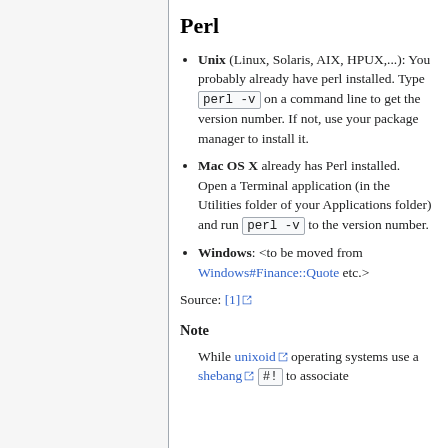Perl
Unix (Linux, Solaris, AIX, HPUX,...): You probably already have perl installed. Type perl -v on a command line to get the version number. If not, use your package manager to install it.
Mac OS X already has Perl installed. Open a Terminal application (in the Utilities folder of your Applications folder) and run perl -v to the version number.
Windows: <to be moved from Windows#Finance::Quote etc.>
Source: [1]
Note
While unixoid operating systems use a shebang #! to associate